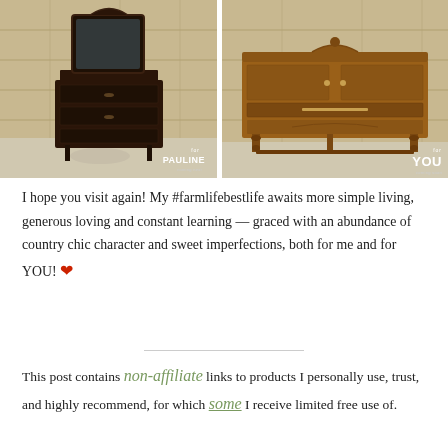[Figure (photo): Dark antique wooden dresser with mirror, standing against a plywood wall background. Label reads 'for PAULINE coming next']
[Figure (photo): Light oak antique sideboard/buffet with ornate carvings and turned legs, against plywood wall. Label reads 'for YOU coming soon']
I hope you visit again! My #farmlifebestlife awaits more simple living, generous loving and constant learning — graced with an abundance of country chic character and sweet imperfections, both for me and for YOU! ❤
This post contains non-affiliate links to products I personally use, trust, and highly recommend, for which some I receive limited free use of.